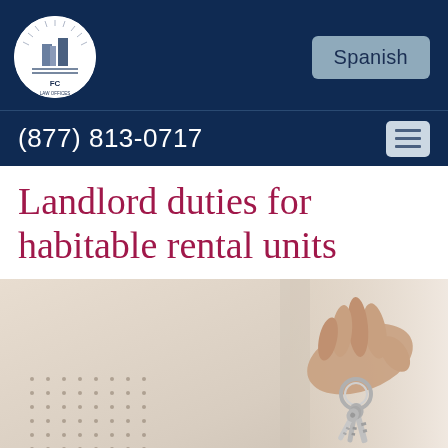[Figure (logo): FC Law Offices circular logo in white circle on dark navy background]
Spanish
(877) 813-0717
Landlord duties for habitable rental units
[Figure (photo): Close-up photo of a hand holding a set of keys, with a blurred background, representing rental property]